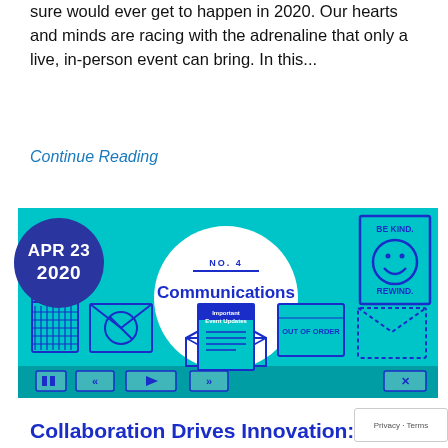sure would ever get to happen in 2020. Our hearts and minds are racing with the adrenaline that only a live, in-person event can bring. In this...
Continue Reading
[Figure (illustration): A promotional banner for 'The Collaboration Drives Innovation Series No. 4: Communications' dated APR 23 2020. Cyan/teal background with blue illustrations of mail icons, trash can, envelopes, a document labeled 'Important Event Updates', a sign saying 'BE KIND. REWIND.', and media player controls along the bottom.]
Collaboration Drives Innovation: